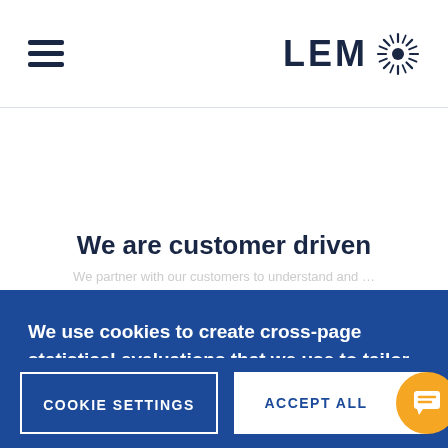LEM [logo with sunburst]
We are customer driven
We use cookies to create cross-page statistical evaluations that we use to tailor our web pages to meet your needs. By clicking on “Accept all”, you agree to the use of these cookies.
Global privacy policy
Cookies policy
COOKIE SETTINGS
ACCEPT ALL